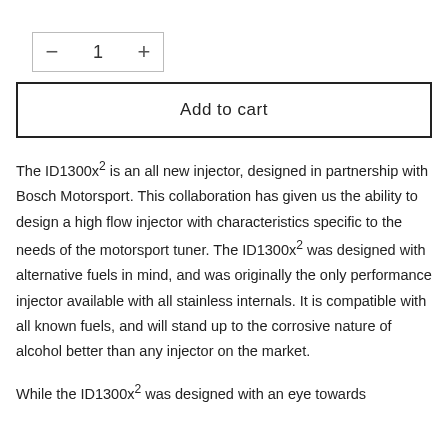− 1 +
Add to cart
The ID1300x² is an all new injector, designed in partnership with Bosch Motorsport. This collaboration has given us the ability to design a high flow injector with characteristics specific to the needs of the motorsport tuner. The ID1300x² was designed with alternative fuels in mind, and was originally the only performance injector available with all stainless internals. It is compatible with all known fuels, and will stand up to the corrosive nature of alcohol better than any injector on the market.
While the ID1300x² was designed with an eye towards